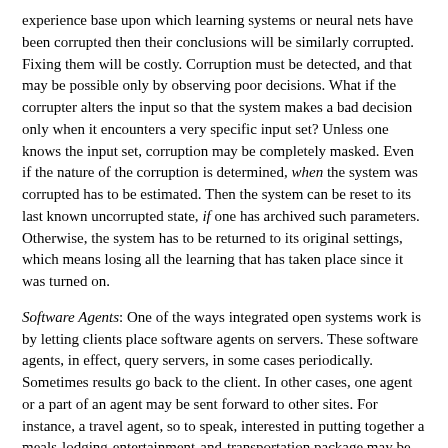experience base upon which learning systems or neural nets have been corrupted then their conclusions will be similarly corrupted. Fixing them will be costly. Corruption must be detected, and that may be possible only by observing poor decisions. What if the corrupter alters the input so that the system makes a bad decision only when it encounters a very specific input set? Unless one knows the input set, corruption may be completely masked. Even if the nature of the corruption is determined, when the system was corrupted has to be estimated. Then the system can be reset to its last known uncorrupted state, if one has archived such parameters. Otherwise, the system has to be returned to its original settings, which means losing all the learning that has taken place since it was turned on.
Software Agents: One of the ways integrated open systems work is by letting clients place software agents on servers. These software agents, in effect, query servers, in some cases periodically. Sometimes results go back to the client. In other cases, one agent or a part of an agent may be sent forward to other sites. For instance, a travel agent, so to speak, interested in putting together a meals-lodging-entertainment-and-transportation package may be split into four sub-agents (each of whom then go out looking for the best deals in their area, return candidates, so that the master agent can fit them together).